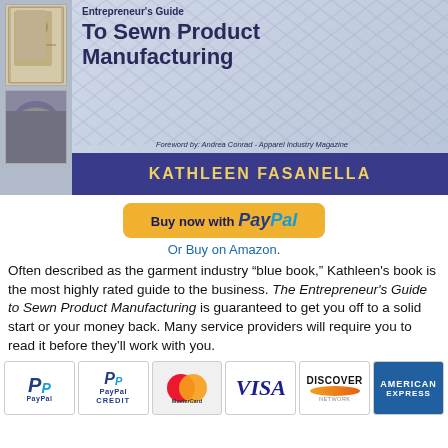[Figure (photo): Book cover of 'The Entrepreneur's Guide To Sewn Product Manufacturing' by Kathleen Fasanella. Cover shows title text in dark blue on a blue-gray background with a net/mesh pattern. Author name is displayed in yellow on a dark blue bar. Foreword credited to Andrea Conrad, Apparel Industry Magazine. Left side shows two thumbnail images.]
[Figure (other): PayPal 'Buy now with PayPal' button, orange/yellow rounded rectangle.]
Or Buy on Amazon.
Often described as the garment industry “blue book,” Kathleen's book is the most highly rated guide to the business. The Entrepreneur's Guide to Sewn Product Manufacturing is guaranteed to get you off to a solid start or your money back. Many service providers will require you to read it before they’ll work with you.
[Figure (other): Row of payment logos: PayPal, PayPal Credit, MasterCard, Visa, Discover Network, American Express]